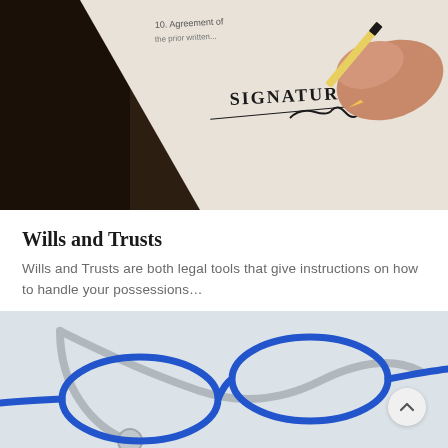[Figure (photo): Close-up photo of a hand holding a pencil and signing a document. The document shows the word 'SIGNATURE' printed on it with a signature being written. The background is a dark wooden desk.]
Wills and Trusts
Wills and Trusts are both legal tools that give instructions on how to handle your possessions...
[Figure (photo): Photo of blue-framed eyeglasses resting on top of a stethoscope on a white surface. The stethoscope is silver/grey colored.]